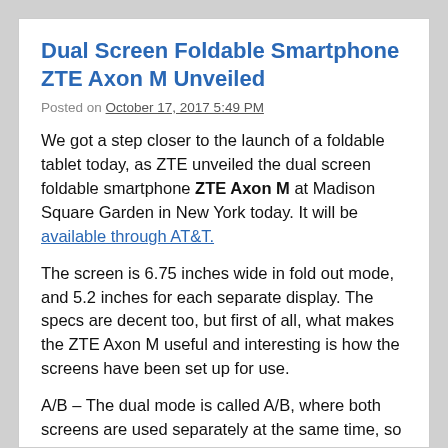Dual Screen Foldable Smartphone ZTE Axon M Unveiled
Posted on October 17, 2017 5:49 PM
We got a step closer to the launch of a foldable tablet today, as ZTE unveiled the dual screen foldable smartphone ZTE Axon M at Madison Square Garden in New York today. It will be available through AT&T.
The screen is 6.75 inches wide in fold out mode, and 5.2 inches for each separate display. The specs are decent too, but first of all, what makes the ZTE Axon M useful and interesting is how the screens have been set up for use.
A/B – The dual mode is called A/B, where both screens are used separately at the same time, so you can watch videos on one screen, and message on the other.
/-\ – This is the extended mode which is the so called tablet experience, where both screens are joined to form a larger screen. But because of the screen ratio, this